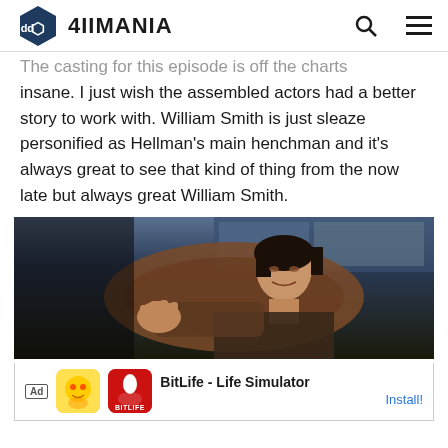4IIMANIA
The casting for this episode is off the charts insane. I just wish the assembled actors had a better story to work with. William Smith is just sleaze personified as Hellman’s main henchman and it’s always great to see that kind of thing from the now late but always great William Smith.
[Figure (photo): A dark-toned film still showing a man with dark hair in a brown leather chair, appearing to point or gesture, with a moody background.]
Ad  BitLife - Life Simulator  Install!